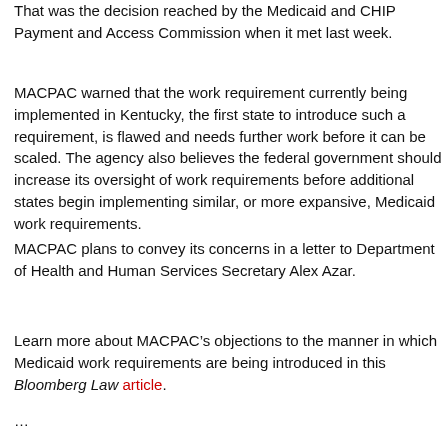That was the decision reached by the Medicaid and CHIP Payment and Access Commission when it met last week.
MACPAC warned that the work requirement currently being implemented in Kentucky, the first state to introduce such a requirement, is flawed and needs further work before it can be scaled. The agency also believes the federal government should increase its oversight of Medicaid work requirements before additional states begin implementing similar, or more expansive, Medicaid work requirements.
MACPAC plans to convey its concerns in a letter to Department of Health and Human Services Secretary Alex Azar.
Learn more about MACPAC’s objections to the manner in which Medicaid work requirements are being introduced in this Bloomberg Law article.
···